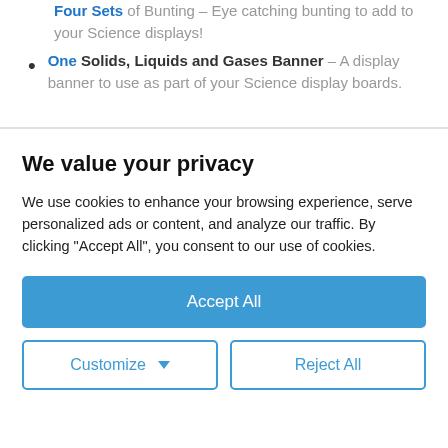to your Science displays!
One Solids, Liquids and Gases Banner – A display banner to use as part of your Science display boards.
We value your privacy
We use cookies to enhance your browsing experience, serve personalized ads or content, and analyze our traffic. By clicking "Accept All", you consent to our use of cookies.
Accept All
Customize
Reject All